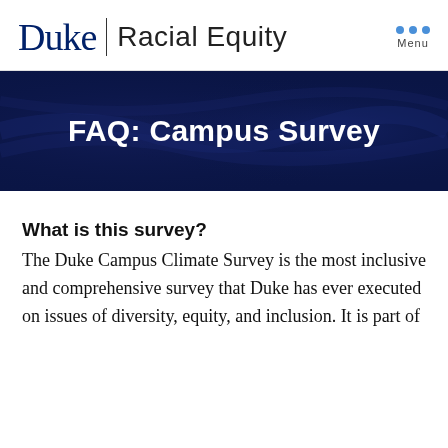Duke | Racial Equity
FAQ: Campus Survey
What is this survey?
The Duke Campus Climate Survey is the most inclusive and comprehensive survey that Duke has ever executed on issues of diversity, equity, and inclusion. It is part of